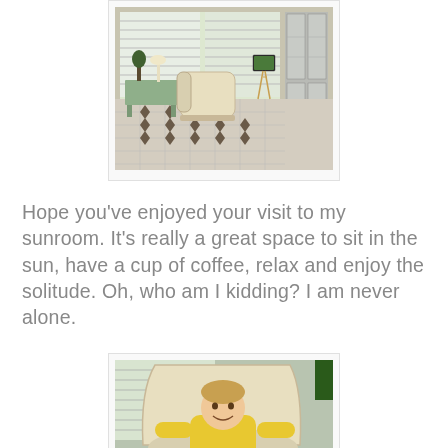[Figure (photo): Interior photo of a bright sunroom with white wicker chaise lounge chair, a desk with lamp, potted plant, TV on a tripod easel, tiled floor with dark diamond accents, and French doors with windows letting in natural light.]
Hope you've enjoyed your visit to my sunroom. It's really a great space to sit in the sun, have a cup of coffee, relax and enjoy the solitude. Oh, who am I kidding? I am never alone.
[Figure (photo): Photo of a young smiling child in a yellow shirt sitting in a white wicker chair in the sunroom, with windows and blinds visible in the background.]